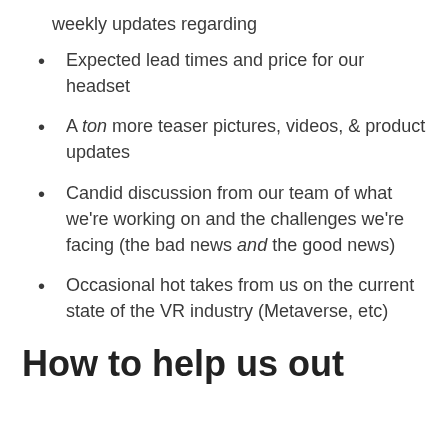weekly updates regarding
Expected lead times and price for our headset
A ton more teaser pictures, videos, & product updates
Candid discussion from our team of what we're working on and the challenges we're facing (the bad news and the good news)
Occasional hot takes from us on the current state of the VR industry (Metaverse, etc)
How to help us out